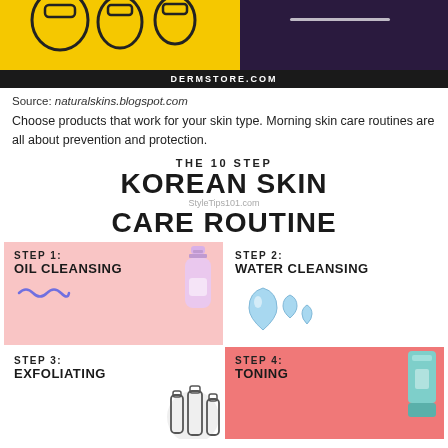[Figure (illustration): Top banner with yellow and dark purple background showing DERMSTORE.COM branding bar]
Source: naturalskins.blogspot.com
Choose products that work for your skin type. Morning skin care routines are all about prevention and protection.
[Figure (infographic): THE 10 STEP KOREAN SKIN CARE ROUTINE infographic showing Step 1: Oil Cleansing, Step 2: Water Cleansing, Step 3: Exfoliating, Step 4: Toning with illustrations and colored panels. Credit: StyleTips101.com]